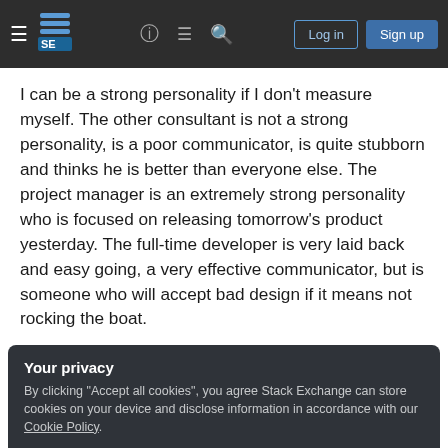Stack Exchange navigation header with Log in and Sign up buttons
I can be a strong personality if I don't measure myself. The other consultant is not a strong personality, is a poor communicator, is quite stubborn and thinks he is better than everyone else. The project manager is an extremely strong personality who is focused on releasing tomorrow's product yesterday. The full-time developer is very laid back and easy going, a very effective communicator, but is someone who will accept bad design if it means not rocking the boat.
Your privacy
By clicking "Accept all cookies", you agree Stack Exchange can store cookies on your device and disclose information in accordance with our Cookie Policy.
Accept all cookies
Customize settings